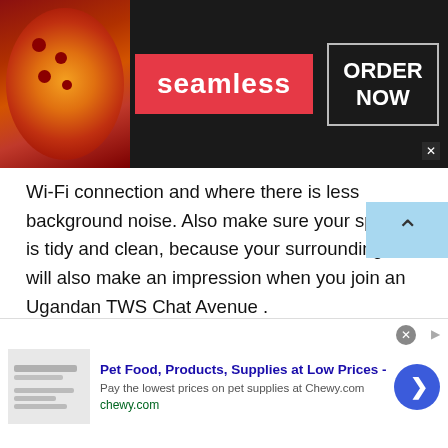[Figure (screenshot): Seamless food delivery advertisement banner with pizza image on left, red Seamless badge in center, and ORDER NOW button in a box on the right, on dark background]
Wi-Fi connection and where there is less background noise. Also make sure your space is tidy and clean, because your surroundings will also make an impression when you join an Ugandan TWS Chat Avenue .
A Good Camera
Although laptops have built in cameras installed in the latest models, they are not as good as a webcam. Make sure you get your hands on a quality camera because clear communication requires the other person to see your
[Figure (screenshot): Chewy.com advertisement: Pet Food, Products, Supplies at Low Prices - Pay the lowest prices on pet supplies at Chewy.com]